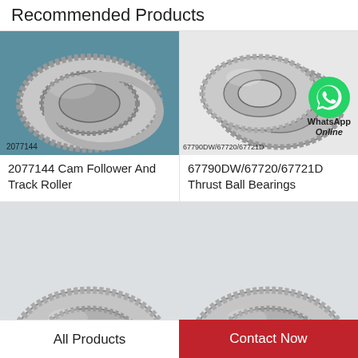Recommended Products
[Figure (photo): Photo of 2077144 cam follower and track roller bearing, silver metal, double row, product code '2077144' visible at bottom left]
2077144 Cam Follower And Track Roller
[Figure (photo): Photo of 67790DW/67720/67721D thrust ball bearings, two tapered roller bearings stacked, with WhatsApp Online badge overlay]
67790DW/67720/67721D Thrust Ball Bearings
[Figure (photo): Partial photo of a tapered roller bearing, lower left product]
[Figure (photo): Partial photo of a tapered roller bearing, lower right product]
All Products
Contact Now